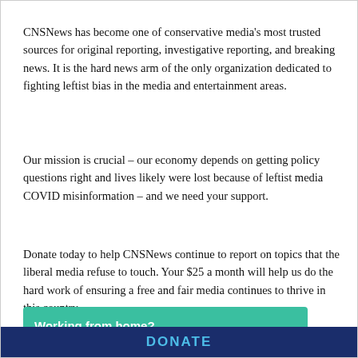CNSNews has become one of conservative media's most trusted sources for original reporting, investigative reporting, and breaking news. It is the hard news arm of the only organization dedicated to fighting leftist bias in the media and entertainment areas.
Our mission is crucial – our economy depends on getting policy questions right and lives likely were lost because of leftist media COVID misinformation – and we need your support.
Donate today to help CNSNews continue to report on topics that the liberal media refuse to touch. Your $25 a month will help us do the hard work of ensuring a free and fair media continues to thrive in this country.
— The CNSNews Team
[Figure (infographic): Green advertisement banner: 'Working from home? Get your projects done on fiverr']
[Figure (infographic): Dark navy blue DONATE bar at bottom of page]